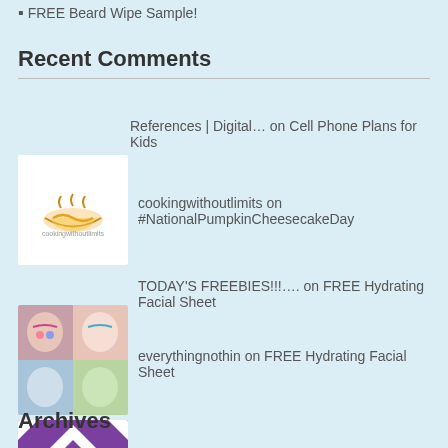FREE Beard Wipe Sample!
Recent Comments
References | Digital… on Cell Phone Plans for Kids
cookingwithoutlimits on #NationalPumpkinCheesecakeDay
TODAY'S FREEBIES!!!…. on FREE Hydrating Facial Sheet
everythingnothin on FREE Hydrating Facial Sheet
livecheapfeelrich on FREE Hydrating Facial Sheet
Archives